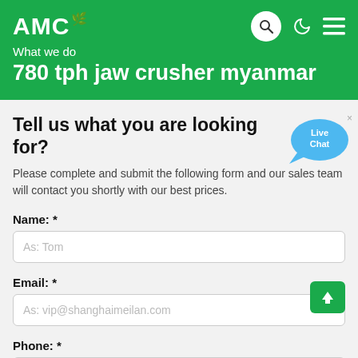AMC — What we do
780 tph jaw crusher myanmar
Tell us what you are looking for?
Please complete and submit the following form and our sales team will contact you shortly with our best prices.
Name: *
As: Tom
Email: *
As: vip@shanghaimeilan.com
Phone: *
With Country Code